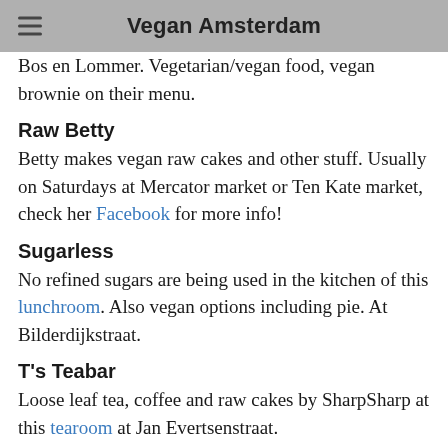Vegan Amsterdam
Bos en Lommer. Vegetarian/vegan food, vegan brownie on their menu.
Raw Betty
Betty makes vegan raw cakes and other stuff. Usually on Saturdays at Mercator market or Ten Kate market, check her Facebook for more info!
Sugarless
No refined sugars are being used in the kitchen of this lunchroom. Also vegan options including pie. At Bilderdijkstraat.
T's Teabar
Loose leaf tea, coffee and raw cakes by SharpSharp at this tearoom at Jan Evertsenstraat.
Wijs West
Store/lunchroom for kids and their parents, at Bilderdijkstraat. Raw cake by SUF on the menu.